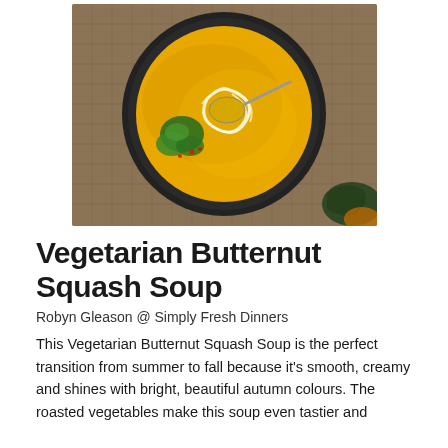[Figure (photo): Overhead photo of a dark bowl of golden butternut squash soup with a cream swirl, a spoon, and green herb garnish with red pepper flakes, on a burlap background.]
Vegetarian Butternut Squash Soup
Robyn Gleason @ Simply Fresh Dinners
This Vegetarian Butternut Squash Soup is the perfect transition from summer to fall because it's smooth, creamy and shines with bright, beautiful autumn colours. The roasted vegetables make this soup even tastier and